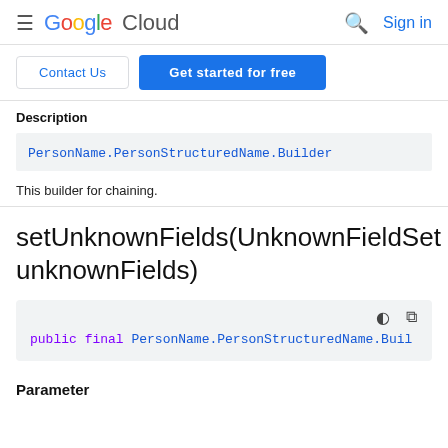Google Cloud — Sign in
Contact Us | Get started for free
Description
PersonName.PersonStructuredName.Builder
This builder for chaining.
setUnknownFields(UnknownFieldSet unknownFields)
public final PersonName.PersonStructuredName.Builder
Parameter